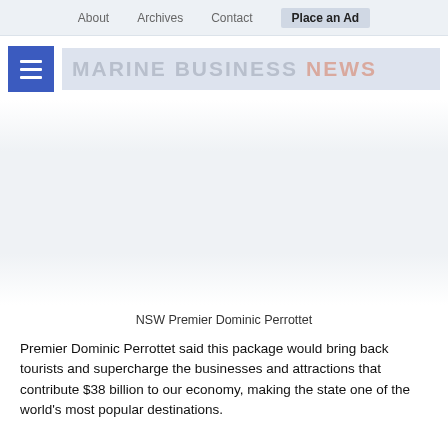About  Archives  Contact  Place an Ad
[Figure (logo): Marine Business News logo with blue hamburger menu icon on the left and gray text 'MARINE BUSINESS NEWS' with pink 'NEWS' on the right]
[Figure (photo): Advertisement / image area (blank/gray band)]
NSW Premier Dominic Perrottet
Premier Dominic Perrottet said this package would bring back tourists and supercharge the businesses and attractions that contribute $38 billion to our economy, making the state one of the world's most popular destinations.